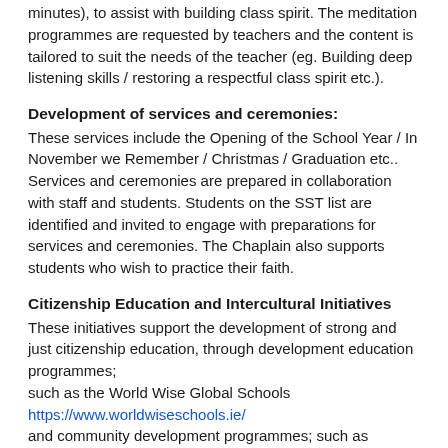minutes), to assist with building class spirit. The meditation programmes are requested by teachers and the content is tailored to suit the needs of the teacher (eg. Building deep listening skills / restoring a respectful class spirit etc.).
Development of services and ceremonies:
These services include the Opening of the School Year / In November we Remember / Christmas / Graduation etc.. Services and ceremonies are prepared in collaboration with staff and students. Students on the SST list are identified and invited to engage with preparations for services and ceremonies. The Chaplain also supports students who wish to practice their faith.
Citizenship Education and Intercultural Initiatives
These initiatives support the development of strong and just citizenship education, through development education programmes; such as the World Wise Global Schools https://www.worldwiseschools.ie/ and community development programmes; such as Localise https://www.localise.ie
This work includes raising awareness of cultural similarities